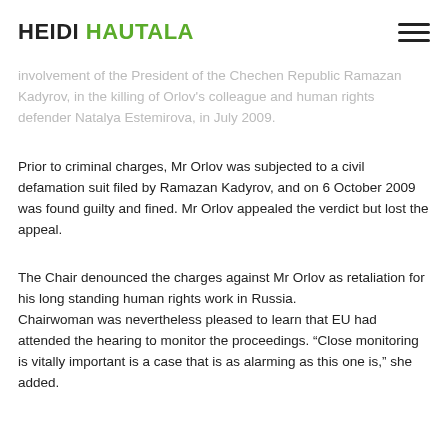HEIDI HAUTALA
involvement of the President of the Chechen Republic Ramazan Kadyrov, in the killing of Orlov's colleague and human rights defender Natalya Estemirova, in July 2009.
Prior to criminal charges, Mr Orlov was subjected to a civil defamation suit filed by Ramazan Kadyrov, and on 6 October 2009 was found guilty and fined. Mr Orlov appealed the verdict but lost the appeal.
The Chair denounced the charges against Mr Orlov as retaliation for his long standing human rights work in Russia.
Chairwoman was nevertheless pleased to learn that EU had attended the hearing to monitor the proceedings. “Close monitoring is vitally important is a case that is as alarming as this one is,” she added.